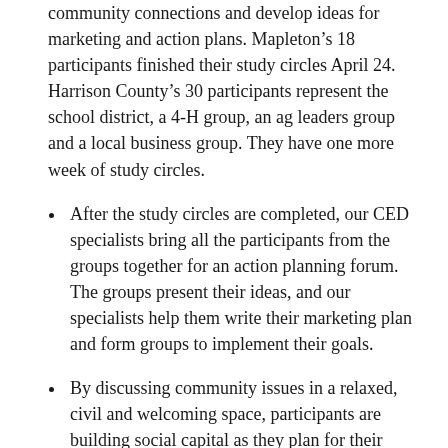community connections and develop ideas for marketing and action plans. Mapleton's 18 participants finished their study circles April 24. Harrison County's 30 participants represent the school district, a 4-H group, an ag leaders group and a local business group. They have one more week of study circles.
After the study circles are completed, our CED specialists bring all the participants from the groups together for an action planning forum. The groups present their ideas, and our specialists help them write their marketing plan and form groups to implement their goals.
By discussing community issues in a relaxed, civil and welcoming space, participants are building social capital as they plan for their shared future.
Cooperative Extension services in Nebraska, South Dakota, North Dakota and Minnesota already have had